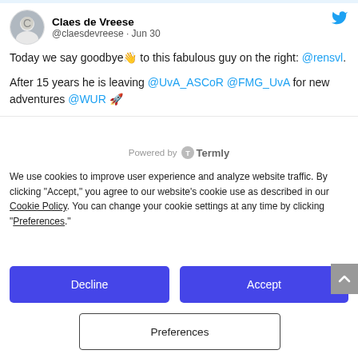[Figure (screenshot): Tweet screenshot from @claesdevreese (Claes de Vreese), Jun 30, with profile photo. Tweet reads: 'Today we say goodbye 👋 to this fabulous guy on the right: @rensvl. After 15 years he is leaving @UvA_ASCoR @FMG_UvA for new adventures @WUR 🚀']
Powered by Termly
We use cookies to improve user experience and analyze website traffic. By clicking "Accept," you agree to our website's cookie use as described in our Cookie Policy. You can change your cookie settings at any time by clicking "Preferences."
Decline
Accept
Preferences